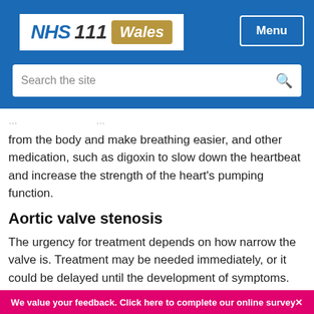[Figure (logo): NHS 111 Wales logo and Menu button in blue header bar with search bar below]
from the body and make breathing easier, and other medication, such as digoxin to slow down the heartbeat and increase the strength of the heart's pumping function.
Aortic valve stenosis
The urgency for treatment depends on how narrow the valve is. Treatment may be needed immediately, or it could be delayed until the development of symptoms.
If treatment is required, a procedure called a balloon valvuloplasty is often the recommended treatment option in
We value your feedback. Click here to complete our online survey✕